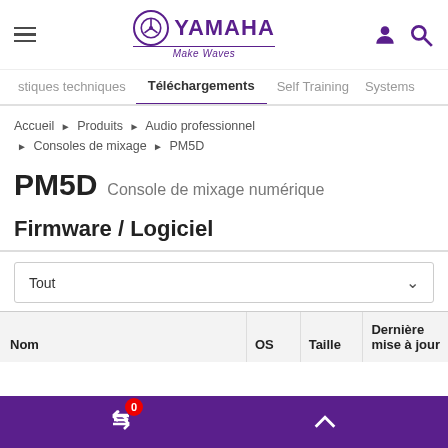Yamaha — Make Waves — header with hamburger menu, logo, user and search icons
stiques techniques | Téléchargements | Self Training | Systems
Accueil ▶ Produits ▶ Audio professionnel ▶ Consoles de mixage ▶ PM5D
PM5D Console de mixage numérique
Firmware / Logiciel
Tout
| Nom | OS | Taille | Dernière mise à jour |
| --- | --- | --- | --- |